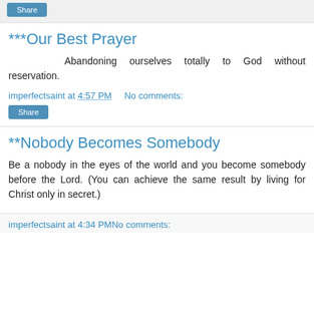Share
***Our Best Prayer
Abandoning ourselves totally to God without reservation.
imperfectsaint at 4:57 PM   No comments:
Share
**Nobody Becomes Somebody
Be a nobody in the eyes of the world and you become somebody before the Lord. (You can achieve the same result by living for Christ only in secret.)
imperfectsaint at 4:34 PM   No comments: